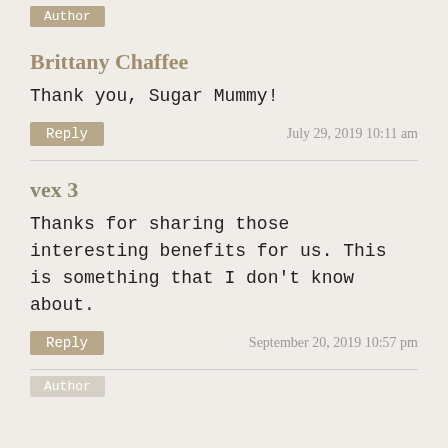Author
Brittany Chaffee
Thank you, Sugar Mummy!
Reply   July 29, 2019 10:11 am
vex 3
Thanks for sharing those interesting benefits for us. This is something that I don't know about.
Reply   September 20, 2019 10:57 pm
Author